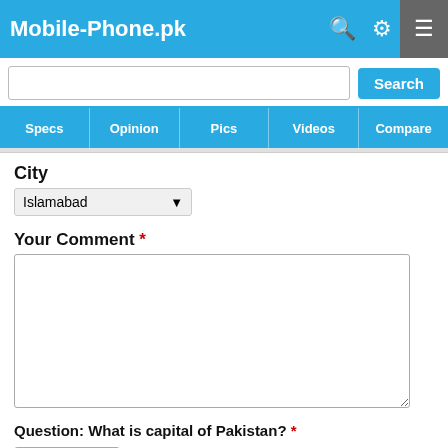Mobile-Phone.pk
Search
Specs | Opinion | Pics | Videos | Compare
City
Islamabad
Your Comment *
Question: What is capital of Pakistan? *
Close x
0  3  0  0
Share  WhatsApp  Tweet  Pin
Latest Mobiles | Samsung | Huawei | Vivo | Infinix | Honor | Oppo | Realme | Tecno